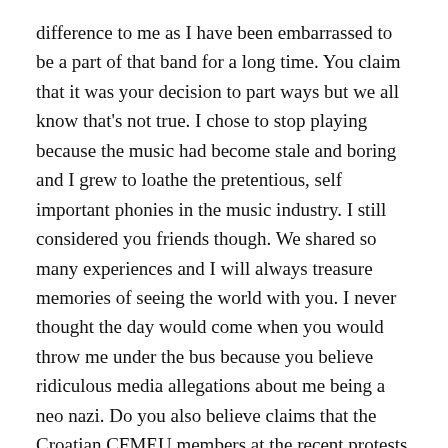difference to me as I have been embarrassed to be a part of that band for a long time. You claim that it was your decision to part ways but we all know that's not true. I chose to stop playing because the music had become stale and boring and I grew to loathe the pretentious, self important phonies in the music industry. I still considered you friends though. We shared so many experiences and I will always treasure memories of seeing the world with you. I never thought the day would come when you would throw me under the bus because you believe ridiculous media allegations about me being a neo nazi. Do you also believe claims that the Croatian CFMEU members at the recent protests are neo nazis? Your dad literally fled communism in Yugoslavia to find a better life and here you are, in Australia, ushering it in. Smdh.
Richard Stanley – You know the dirt I have on you. But